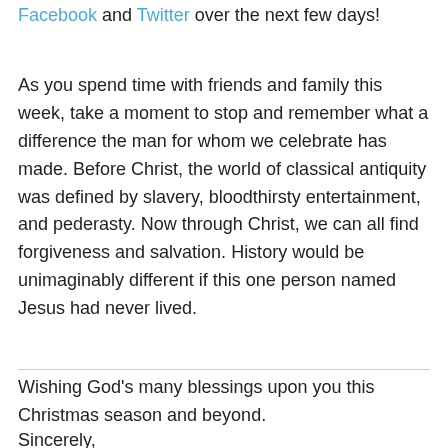Facebook and Twitter over the next few days!
As you spend time with friends and family this week, take a moment to stop and remember what a difference the man for whom we celebrate has made. Before Christ, the world of classical antiquity was defined by slavery, bloodthirsty entertainment, and pederasty. Now through Christ, we can all find forgiveness and salvation. History would be unimaginably different if this one person named Jesus had never lived.
Wishing God’s many blessings upon you this Christmas season and beyond.
Sincerely,